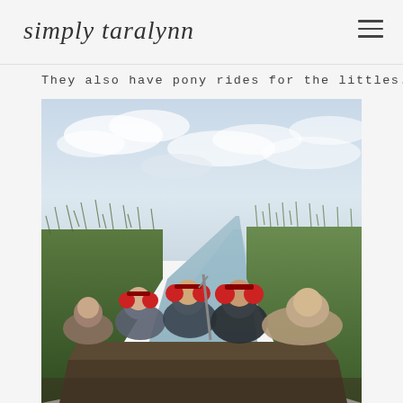simply taralynn
They also have pony rides for the littles.
[Figure (photo): Group of people on an airboat wearing red ear protection, riding through a narrow waterway channel flanked by tall green marsh grass and reeds, with a cloudy sky above.]